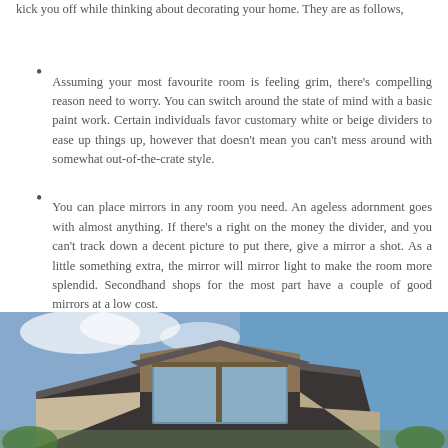kick you off while thinking about decorating your home. They are as follows,
Assuming your most favourite room is feeling grim, there's compelling reason need to worry. You can switch around the state of mind with a basic paint work. Certain individuals favor customary white or beige dividers to ease up things up, however that doesn't mean you can't mess around with somewhat out-of-the-crate style.
You can place mirrors in any room you need. An ageless adornment goes with almost anything. If there's a right on the money the divider, and you can't track down a decent picture to put there, give a mirror a shot. As a little something extra, the mirror will mirror light to make the room more splendid. Secondhand shops for the most part have a couple of good mirrors at a low cost.
[Figure (photo): Exterior photo of a house with a window dormer, roofline visible against a blue sky with clouds]